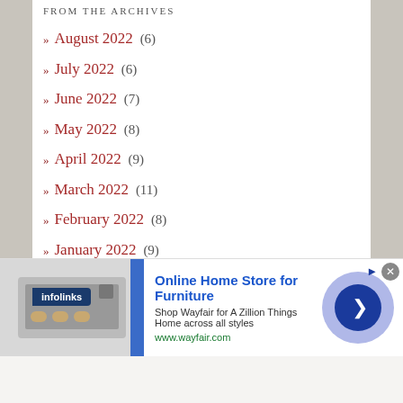FROM THE ARCHIVES
» August 2022 (6)
» July 2022 (6)
» June 2022 (7)
» May 2022 (8)
» April 2022 (9)
» March 2022 (11)
» February 2022 (8)
» January 2022 (9)
» December 2021 (9)
» November 2021 (9)
» October 2021 (10)
[Figure (screenshot): Advertisement banner for Wayfair online furniture store, with infolinks badge, product image of home appliances, headline 'Online Home Store for Furniture', subtitle 'Shop Wayfair for A Zillion Things Home across all styles', URL www.wayfair.com, and a blue circular arrow button]